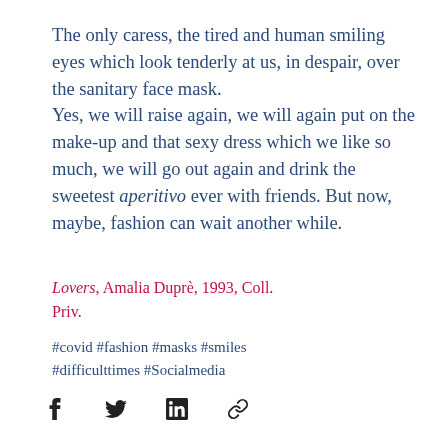The only caress, the tired and human smiling eyes which look tenderly at us, in despair, over the sanitary face mask. Yes, we will raise again, we will again put on the make-up and that sexy dress which we like so much, we will go out again and drink the sweetest aperitivo ever with friends. But now, maybe, fashion can wait another while.
Lovers, Amalia Duprè, 1993, Coll. Priv.
#covid #fashion #masks #smiles #difficulttimes #Socialmedia
[Figure (infographic): Social media share icons: Facebook (f), Twitter bird, LinkedIn (in), link/chain icon]